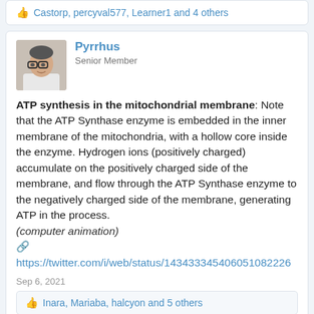👍 Castorp, percyval577, Learner1 and 4 others
Pyrrhus
Senior Member
ATP synthesis in the mitochondrial membrane: Note that the ATP Synthase enzyme is embedded in the inner membrane of the mitochondria, with a hollow core inside the enzyme. Hydrogen ions (positively charged) accumulate on the positively charged side of the membrane, and flow through the ATP Synthase enzyme to the negatively charged side of the membrane, generating ATP in the process. (computer animation)
🔗 https://twitter.com/i/web/status/143433345406051082226
Sep 6, 2021
👍 Inara, Mariaba, halcyon and 5 others
seamyb